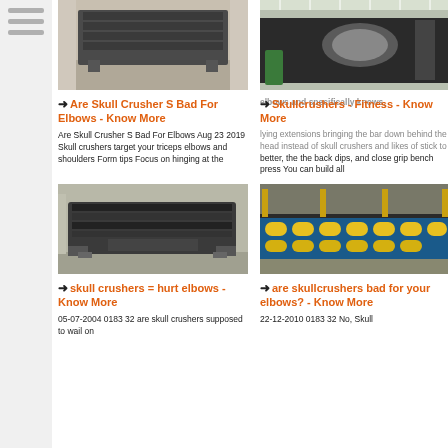[Figure (photo): Industrial vibrating screen machine in a factory warehouse]
[Figure (photo): Large industrial crusher or mill equipment in a factory]
Are Skull Crusher S Bad For Elbows - Know More
Skullcrushers - Fitness - Know More
Are Skull Crusher S Bad For Elbows Aug 23 2019 Skull crushers target your triceps elbows and shoulders Form tips Focus on hinging at the
elbows and specifically knows, lying extensions bringing the bar down behind the head instead of skull crushers and likes of stick to better, the the back dips, and close grip bench press You can build all
[Figure (photo): Vibrating screen / sieve machine in industrial setting]
[Figure (photo): Industrial machinery with blue and yellow parts]
skull crushers = hurt elbows - Know More
are skullcrushers bad for your elbows? - Know More
05-07-2004 0183 32 are skull crushers supposed to wail on
22-12-2010 0183 32 No, Skull